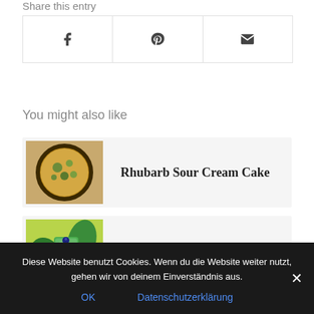Share this entry
[Figure (other): Social share buttons: Facebook (f), Pinterest (P), Email (envelope icon)]
You might also like
[Figure (photo): Thumbnail of Rhubarb Sour Cream Cake — round cake with yellow/green topping]
Rhubarb Sour Cream Cake
[Figure (photo): Thumbnail of Wild garlic paste — green smoothie/paste with wild garlic leaves]
Wild garlic paste
Diese Website benutzt Cookies. Wenn du die Website weiter nutzt, gehen wir von deinem Einverständnis aus.
OK
Datenschutzerklärung